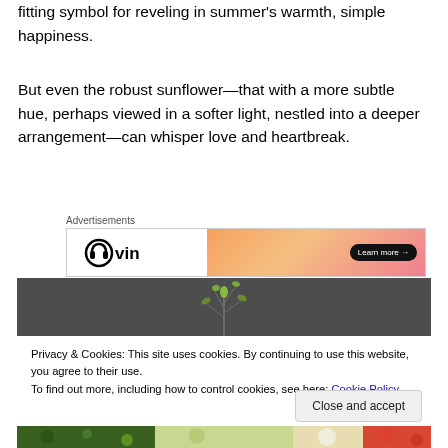fitting symbol for reveling in summer's warmth, simple happiness.
But even the robust sunflower—that with a more subtle hue, perhaps viewed in a softer light, nestled into a deeper arrangement—can whisper love and heartbreak.
[Figure (other): Advertisement banner for 'vin' service with orange-pink gradient and 'Learn more' button]
[Figure (photo): Dark grey background with plant/flower silhouette in the center]
Privacy & Cookies: This site uses cookies. By continuing to use this website, you agree to their use.
To find out more, including how to control cookies, see here: Cookie Policy
[Figure (photo): Bottom strip showing colorful flowers and greenery]